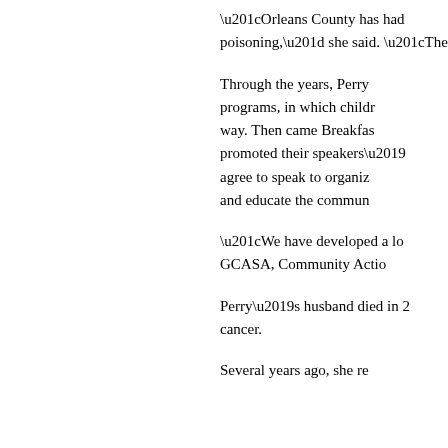“Orleans County has had poisoning,” she said. “The
Through the years, Perry programs, in which childr way. Then came Breakfas promoted their speakers’ agree to speak to organiz and educate the commun
“We have developed a lo GCASA, Community Acti
Perry’s husband died in 2 cancer.
Several years ago, she re